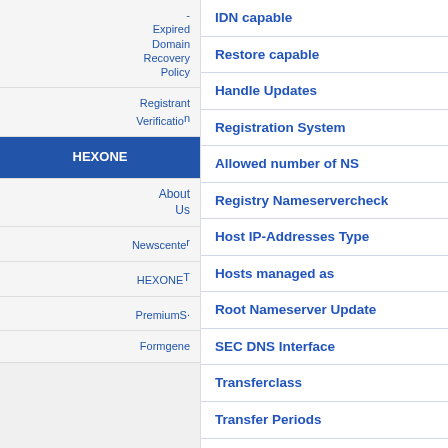- Expired Domain Recovery Policy
Registrant Verification
HEXONE
About Us
Newscenter
HEXONET
PremiumS
Formgene
IDN capable
Restore capable
Handle Updates
Registration System
Allowed number of NS
Registry Nameservercheck
Host IP-Addresses Type
Hosts managed as
Root Nameserver Update
SEC DNS Interface
Transferclass
Transfer Periods
Transfer Authcode required